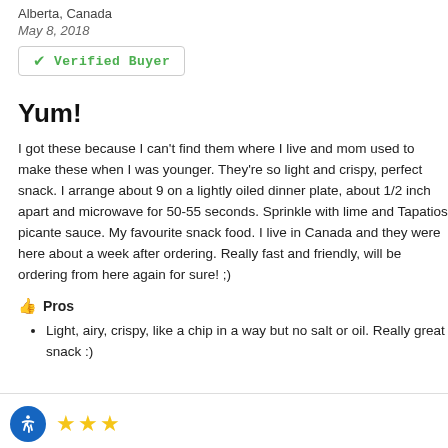Alberta, Canada
May 8, 2018
✓ Verified Buyer
Yum!
I got these because I can't find them where I live and mom used to make these when I was younger. They're so light and crispy, perfect snack. I arrange about 9 on a lightly oiled dinner plate, about 1/2 inch apart and microwave for 50-55 seconds. Sprinkle with lime and Tapatios picante sauce. My favourite snack food. I live in Canada and they were here about a week after ordering. Really fast and friendly, will be ordering from here again for sure! ;)
👍 Pros
Light, airy, crispy, like a chip in a way but no salt or oil. Really great snack :)
[Figure (other): Three gold star rating icons with an accessibility button]